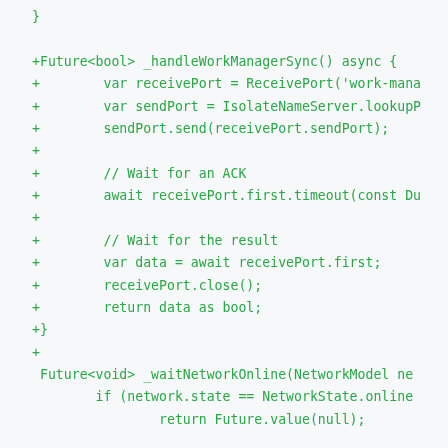[Figure (screenshot): Code diff snippet showing Dart async function _handleWorkManagerSync and partial _waitNetworkOnline function with green added lines prefixed by +]